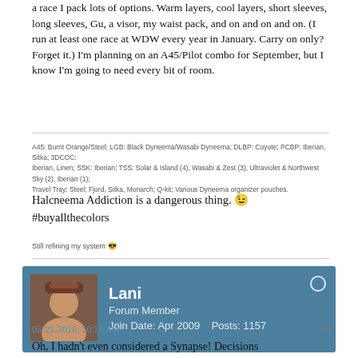a race I pack lots of options. Warm layers, cool layers, short sleeves, long sleeves, Gu, a visor, my waist pack, and on and on and on. (I run at least one race at WDW every year in January. Carry on only? Forget it.) I'm planning on an A45/Pilot combo for September, but I know I'm going to need every bit of room.
A45: Burnt Orange/Steel; LGB: Black Dyneema/Wasabi Dyneema; DLBP: Coyote; PCBP: Iberian, Sitka; 3DCOC: Iberian, Linen; SSK: Iberian; TSS: Solar & Island (4), Wasabi & Zest (3), Ultraviolet & Northwest Sky (2), Iberian (1); Travel Tray: Steel; Fjord, Sitka, Monarch; Q-kit; Various Dyneema organizer pouches.
Halcneema Addiction is a dangerous thing. 😉
#buyallthecolors
Still refining my system 😎
Lani
Forum Member
Join Date: Apr 2009    Posts: 1157
06-21-2016, 10:26 AM
#6
Oh, I hadn't even considered a Synapse! Decisions